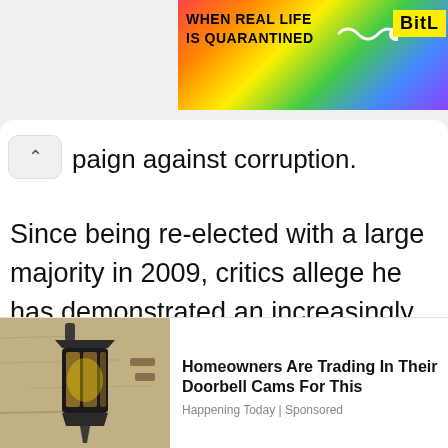[Figure (screenshot): Partial advertisement banner at top right with rainbow gradient background, text 'WHEN REAL LIFE IS QUARANTINED' and 'BitL' logo in yellow]
paign against corruption.
Since being re-elected with a large majority in 2009, critics allege he has demonstrated an increasingly authoritarian streak.
The president has been under mounting pressure to resign, amid accusations of
[Figure (screenshot): Bottom advertisement showing a lantern/doorbell cam photo on left, with headline 'Homeowners Are Trading In Their Doorbell Cams For This', source 'Happening Today | Sponsored']